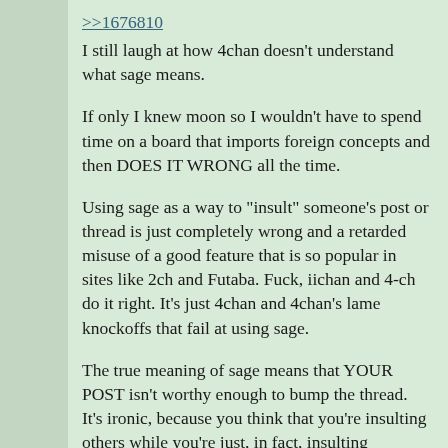>>1676810
I still laugh at how 4chan doesn't understand what sage means.
If only I knew moon so I wouldn't have to spend time on a board that imports foreign concepts and then DOES IT WRONG all the time.
Using sage as a way to "insult" someone's post or thread is just completely wrong and a retarded misuse of a good feature that is so popular in sites like 2ch and Futaba. Fuck, iichan and 4-ch do it right. It's just 4chan and 4chan's lame knockoffs that fail at using sage.
The true meaning of sage means that YOUR POST isn't worthy enough to bump the thread. It's ironic, because you think that you're insulting others while you're just, in fact, insulting yourself. Yes, sage can be used when posting a derogatory comment in a thread that you don't want to bump, but posting with just the word "sage" accomplishes nothing but contribute to spamming the board. The trend of replying with the name of a tripfag and sage is even worse, as it